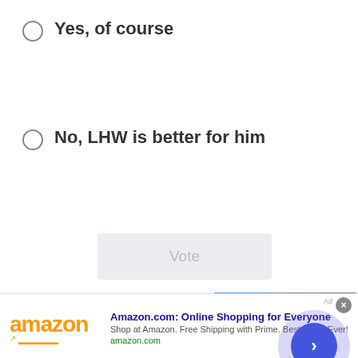Yes, of course
No, LHW is better for him
Vote
View Results
Polls Archive
[Figure (photo): Video thumbnail overlay showing a man wearing headphones smiling, with purple background. Overlaid with a video progress bar, three-dot menu, and forward arrow button. Caption reads 'Brandon Lewis talks'. MyMMA logo visible bottom right.]
Many cricket fans so many ways to
[Figure (screenshot): Amazon advertisement banner showing Amazon logo, text 'Amazon.com: Online Shopping for Everyone', 'Shop at Amazon. Free Shipping with Prime. Best Deals Ever!', 'amazon.com', with a circular arrow button overlay]